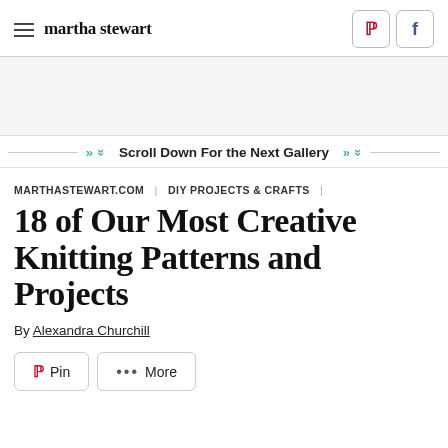martha stewart
Scroll Down For the Next Gallery
MARTHASTEWART.COM | DIY PROJECTS & CRAFTS |
18 of Our Most Creative Knitting Patterns and Projects
By Alexandra Churchill
Pin   ••• More